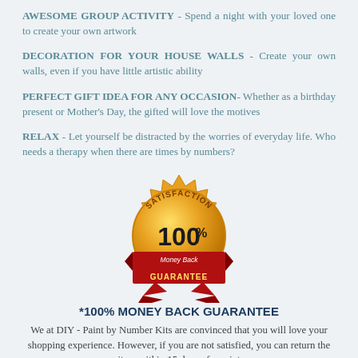AWESOME GROUP ACTIVITY - Spend a night with your loved one to create your own artwork
DECORATION FOR YOUR HOUSE WALLS - Create your own walls, even if you have little artistic ability
PERFECT GIFT IDEA FOR ANY OCCASION- Whether as a birthday present or Mother's Day, the gifted will love the motives
RELAX - Let yourself be distracted by the worries of everyday life. Who needs a therapy when there are times by numbers?
[Figure (illustration): Gold satisfaction badge seal with red ribbon showing 100% Money Back Guarantee]
*100% MONEY BACK GUARANTEE
We at DIY - Paint by Number Kits are convinced that you will love your shopping experience. However, if you are not satisfied, you can return the item within 15 days of receipt